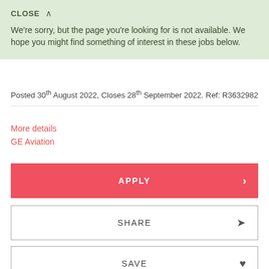CLOSE ∧
We're sorry, but the page you're looking for is not available. We hope you might find something of interest in these jobs below.
Posted 30th August 2022, Closes 28th September 2022. Ref: R3632982
More details
GE Aviation
APPLY
SHARE
SAVE